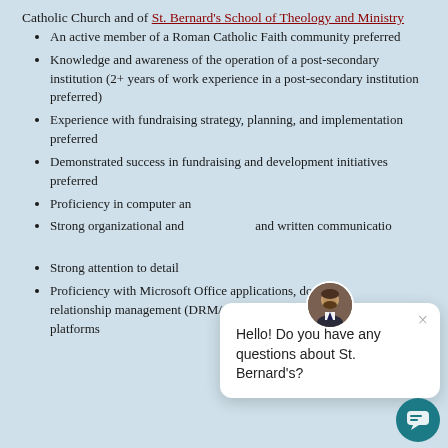Catholic Church and of St. Bernard's School of Theology and Ministry
An active member of a Roman Catholic Faith community preferred
Knowledge and awareness of the operation of a post-secondary institution (2+ years of work experience in a post-secondary institution preferred)
Experience with fundraising strategy, planning, and implementation preferred
Demonstrated success in fundraising and development initiatives preferred
Proficiency in computer an[d...]
Strong organizational and [...] and written communicatio[ns...]
Strong attention to detail
Proficiency with Microsoft Office applications, donor/cu[stomer] relationship management (DRM/CRM) software and so[cial] media platforms